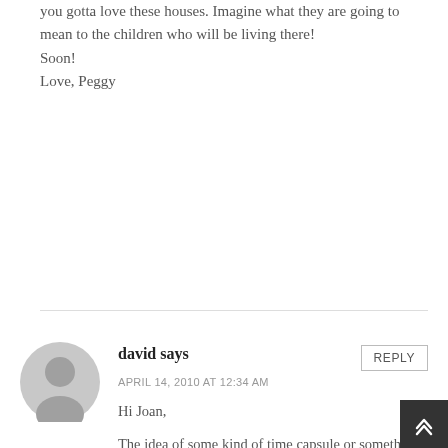you gotta love these houses. Imagine what they are going to mean to the children who will be living there!
Soon!
Love, Peggy
david says
APRIL 14, 2010 AT 12:34 AM
REPLY
Hi Joan,
The idea of some kind of time capsule or something is a really good idea. I'll work on it on this end and see what we can come up with. And thanks for your interest in the project and the postings. At times it has felt that in two hundred years we may just be finishing construction…but now we are closing in.